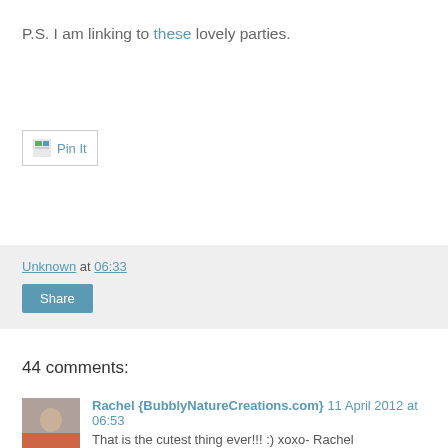P.S. I am linking to these lovely parties.
[Figure (other): Pin It button widget with small image icon and text link]
Unknown at 06:33
Share
44 comments:
Rachel {BubblyNatureCreations.com} 11 April 2012 at 06:53
That is the cutest thing ever!!! :) xoxo- Rachel